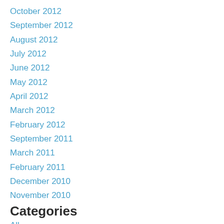October 2012
September 2012
August 2012
July 2012
June 2012
May 2012
April 2012
March 2012
February 2012
September 2011
March 2011
February 2011
December 2010
November 2010
Categories
All
Animal Assisted Therapy
Inspiration
Newsletter
Pain Management